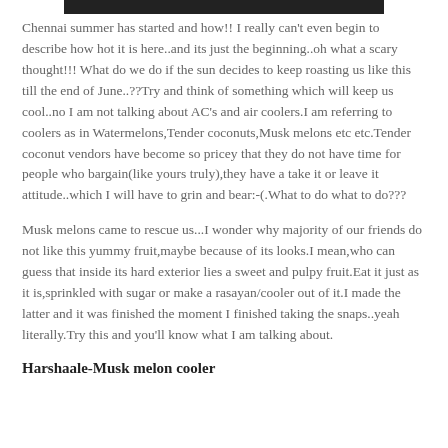[Figure (photo): Top portion of an image, dark strip visible at the top of the page]
Chennai summer has started and how!! I really can't even begin to describe how hot it is here..and its just the beginning..oh what a scary thought!!! What do we do if the sun decides to keep roasting us like this till the end of June..??Try and think of something which will keep us cool..no I am not talking about AC's and air coolers.I am referring to coolers as in Watermelons,Tender coconuts,Musk melons etc etc.Tender coconut vendors have become so pricey that they do not have time for people who bargain(like yours truly),they have a take it or leave it attitude..which I will have to grin and bear:-(.What to do what to do???
Musk melons came to rescue us...I wonder why majority of our friends do not like this yummy fruit,maybe because of its looks.I mean,who can guess that inside its hard exterior lies a sweet and pulpy fruit.Eat it just as it is,sprinkled with sugar or make a rasayan/cooler out of it.I made the latter and it was finished the moment I finished taking the snaps..yeah literally.Try this and you'll know what I am talking about.
Harshaale-Musk melon cooler